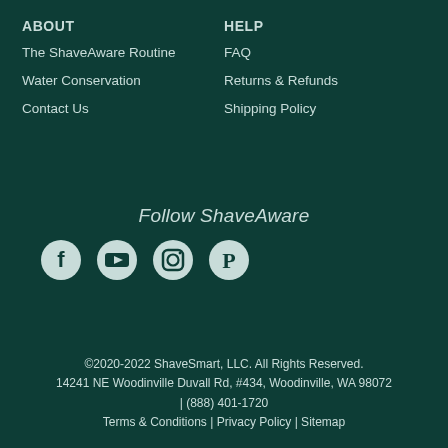ABOUT
The ShaveAware Routine
Water Conservation
Contact Us
HELP
FAQ
Returns & Refunds
Shipping Policy
Follow ShaveAware
[Figure (infographic): Social media icons for Facebook, YouTube, Instagram, and Pinterest]
©2020-2022 ShaveSmart, LLC. All Rights Reserved.
14241 NE Woodinville Duvall Rd, #434, Woodinville, WA 98072
| (888) 401-1720
Terms & Conditions | Privacy Policy | Sitemap